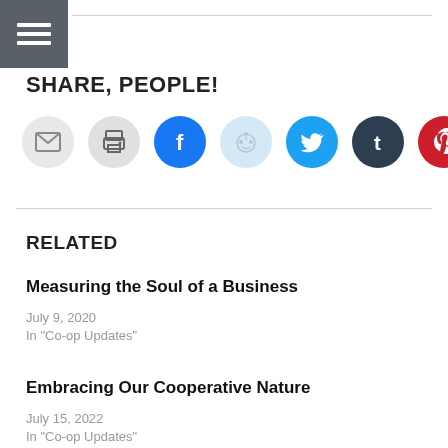SHARE, PEOPLE!
[Figure (other): Row of social sharing icon buttons: email, print, Facebook, Reddit, Twitter, Tumblr, Pinterest]
RELATED
Measuring the Soul of a Business
July 9, 2020
In "Co-op Updates"
Embracing Our Cooperative Nature
July 15, 2022
In "Co-op Updates"